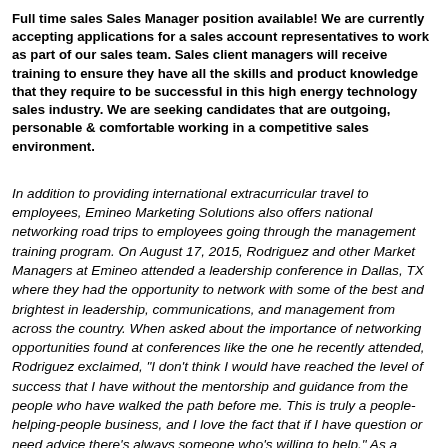Full time sales Sales Manager position available! We are currently accepting applications for a sales account representatives to work as part of our sales team. Sales client managers will receive training to ensure they have all the skills and product knowledge that they require to be successful in this high energy technology sales industry. We are seeking candidates that are outgoing, personable & comfortable working in a competitive sales environment.
In addition to providing international extracurricular travel to employees, Emineo Marketing Solutions also offers national networking road trips to employees going through the management training program. On August 17, 2015, Rodriguez and other Market Managers at Emineo attended a leadership conference in Dallas, TX where they had the opportunity to network with some of the best and brightest in leadership, communications, and management from across the country. When asked about the importance of networking opportunities found at conferences like the one he recently attended, Rodriguez exclaimed, "I don't think I would have reached the level of success that I have without the mentorship and guidance from the people who have walked the path before me. This is truly a people-helping-people business, and I love the fact that if I have question or need advice there's always someone who's willing to help." As a company expanding across the nation, Emineo wants to insure that all employees have the opportunity to grow and